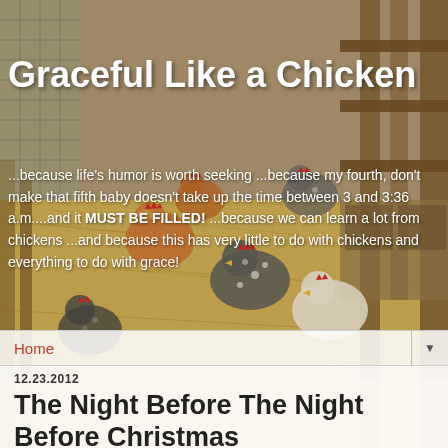[Figure (photo): Photograph of chickens in a chicken coop with hay/straw bedding and wooden structures. Multiple chickens of various colors (brown, speckled, white, black) are visible. The photo spans the full page as a background.]
Graceful Like a Chicken
...because life's humor is worth seeking ...because my fourth, don't make that fifth baby doesn't take up the time between 3 and 3:36 a.m....and it MUST BE FILLED! ...because we can learn a lot from chickens ...and because this has very little to do with chickens and everything to do with grace!
Home
12.23.2012
The Night Before The Night Before Christmas
"'Twas the night before Christmas and all through the house, not a creature was stirring, not even a mouse....."
We all know how the poem goes. We all know the calm and